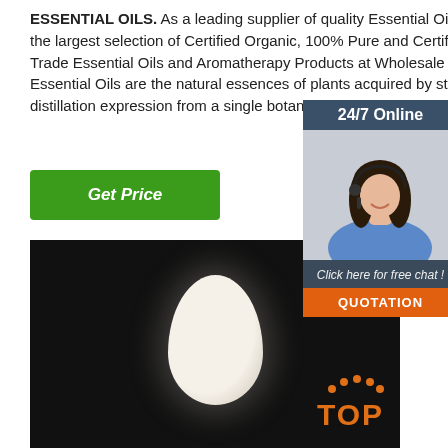ESSENTIAL OILS. As a leading supplier of quality Essential Oils, we offer the largest selection of Certified Organic, 100% Pure and Certified Fair Trade Essential Oils and Aromatherapy Products at Wholesale Prices. Essential Oils are the natural essences of plants acquired by steam distillation expression from a single botanical source.
[Figure (infographic): Call center widget with '24/7 Online' banner, photo of smiling woman with headset, 'Click here for free chat!' text, and orange QUOTATION button]
Get Price
[Figure (photo): Dark background product photo showing a pale egg-shaped solid object (possibly a wax or soap product) with a 'TOP' logo in the bottom right corner]